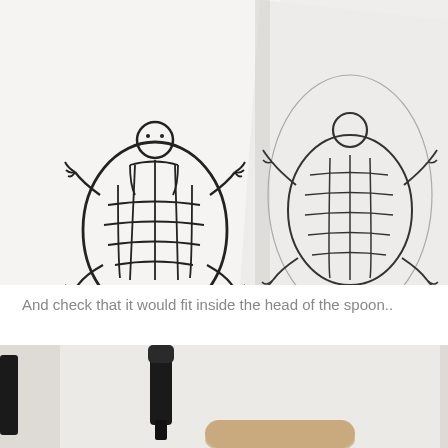[Figure (photo): Two hand-drawn turtle sketches on white paper. The left turtle has a detailed shell with a grid pattern of oval shapes. The right turtle appears as a lighter tracing/copy showing how the turtle would fit inside a spoon head shape outlined in light pencil.]
And check that it would fit inside the head of the spoon..
[Figure (photo): Close-up photo of a wooden spoon and black marker/pen on a light surface, partially cropped at bottom of page.]